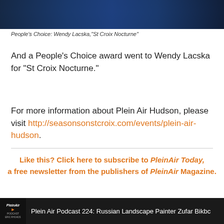[Figure (photo): Top portion of a dark blue painting, nighttime landscape, 'St Croix Nocturne' by Wendy Lacska]
People's Choice: Wendy Lacska,"St Croix Nocturne"
And a People's Choice award went to Wendy Lacska for “St Croix Nocturne.”
For more information about Plein Air Hudson, please visit http://seasonsonstcroix.com/events/plein-air-hudson.
Like this? Click here to subscribe to PleinAir Today, a free newsletter from the publishers of PleinAir Magazine.
Plein Air Podcast 224: Russian Landscape Painter Zufar Bikbc